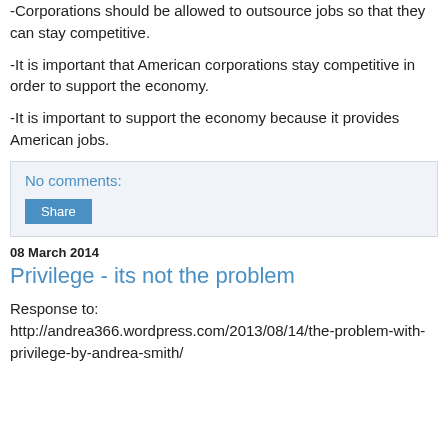-Corporations should be allowed to outsource jobs so that they can stay competitive.
-It is important that American corporations stay competitive in order to support the economy.
-It is important to support the economy because it provides American jobs.
No comments:
Share
08 March 2014
Privilege - its not the problem
Response to: http://andrea366.wordpress.com/2013/08/14/the-problem-with-privilege-by-andrea-smith/